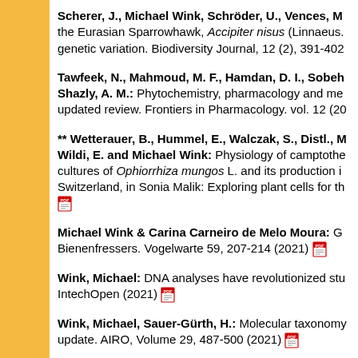Scherer, J., Michael Wink, Schröder, U., Vences, M... the Eurasian Sparrowhawk, Accipiter nisus (Linnaeus... genetic variation. Biodiversity Journal, 12 (2), 391-402
Tawfeek, N., Mahmoud, M. F., Hamdan, D. I., Sobeh..., Shazly, A. M.: Phytochemistry, pharmacology and me... updated review. Frontiers in Pharmacology. vol. 12 (20...
** Wetterauer, B., Hummel, E., Walczak, S., Distl., M... Wildi, E. and Michael Wink: Physiology of camptothe... cultures of Ophiorrhiza mungos L. and its production i... Switzerland, in Sonia Malik: Exploring plant cells for th...
Michael Wink & Carina Carneiro de Melo Moura: G... Bienenfressers. Vogelwarte 59, 207-214 (2021)
Wink, Michael: DNA analyses have revolutionized stu... IntechOpen (2021)
Wink, Michael, Sauer-Gürth, H.: Molecular taxonomy... update. AIRO, Volume 29, 487-500 (2021)
** Wink, Michael: Intelligenz im Tierreich. HDJBO, Ba...